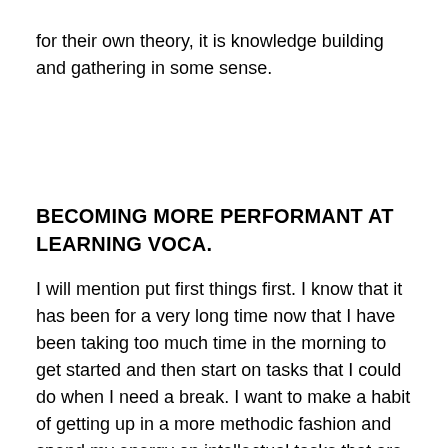for their own theory, it is knowledge building and gathering in some sense.
BECOMING MORE PERFORMANT AT LEARNING VOCA.
I will mention put first things first. I know that it has been for a very long time now that I have been taking too much time in the morning to get started and then start on tasks that I could do when I need a break. I want to make a habit of getting up in a more methodic fashion and spend my energy on intellectual tasks that are hard, I can afford this